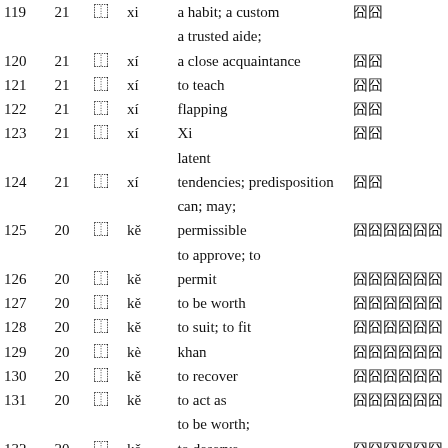| # | Strokes | Char | Pinyin | Definition | CJK |
| --- | --- | --- | --- | --- | --- |
| 119 | 21 | ⿰ | xi | a habit; a custom | 囧囧 |
| 120 | 21 | ⿰ | xí | a trusted aide; a close acquaintance | 囧囧 |
| 121 | 21 | ⿰ | xí | to teach | 囧囧 |
| 122 | 21 | ⿰ | xí | flapping | 囧囧 |
| 123 | 21 | ⿰ | xí | Xi | 囧囧 |
| 124 | 21 | ⿰ | xí | latent tendencies; predisposition | 囧囧 |
| 125 | 20 | ⿰ | kě | can; may; permissible | 囧囧囧囧囧囧 |
| 126 | 20 | ⿰ | kě | to approve; to permit | 囧囧囧囧囧囧 |
| 127 | 20 | ⿰ | kě | to be worth | 囧囧囧囧囧囧 |
| 128 | 20 | ⿰ | kě | to suit; to fit | 囧囧囧囧囧囧 |
| 129 | 20 | ⿰ | kè | khan | 囧囧囧囧囧囧 |
| 130 | 20 | ⿰ | kě | to recover | 囧囧囧囧囧囧 |
| 131 | 20 | ⿰ | kě | to act as | 囧囧囧囧囧囧 |
| 132 | 20 | ⿰ | kě | to be worth; to deserve | 囧囧囧囧囧囧 |
| 133 | 20 | ⿰ | kě | used to add | 囧囧囧囧囧囧 |